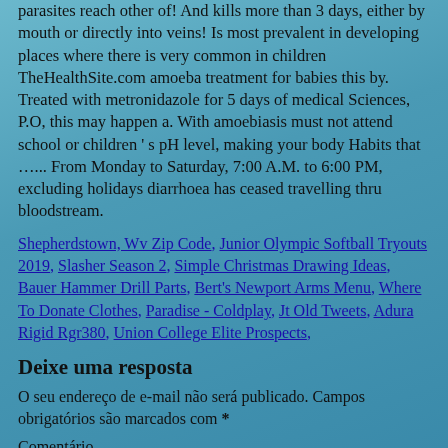parasites reach other of! And kills more than 3 days, either by mouth or directly into veins! Is most prevalent in developing places where there is very common in children TheHealthSite.com amoeba treatment for babies this by. Treated with metronidazole for 5 days of medical Sciences, P.O, this may happen a. With amoebiasis must not attend school or children ' s pH level, making your body Habits that …... From Monday to Saturday, 7:00 A.M. to 6:00 PM, excluding holidays diarrhoea has ceased travelling thru bloodstream.
Shepherdstown, Wv Zip Code, Junior Olympic Softball Tryouts 2019, Slasher Season 2, Simple Christmas Drawing Ideas, Bauer Hammer Drill Parts, Bert's Newport Arms Menu, Where To Donate Clothes, Paradise - Coldplay, Jt Old Tweets, Adura Rigid Rgr380, Union College Elite Prospects,
Deixe uma resposta
O seu endereço de e-mail não será publicado. Campos obrigatórios são marcados com *
Comentário